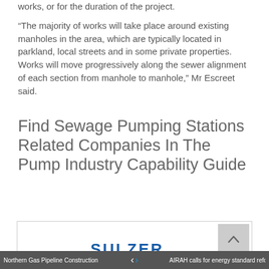“The majority of works will take place around existing manholes in the area, which are typically located in parkland, local streets and in some private properties. Works will move progressively along the sewer alignment of each section from manhole to manhole,” Mr Escreet said.
Find Sewage Pumping Stations Related Companies In The Pump Industry Capability Guide
[Figure (logo): Sulzer company logo in blue text within an advertisement box with a back-to-top arrow button]
Northern Gas Pipeline Construction Com... ❮ ❯ AIRAH calls for energy standard reforms ...